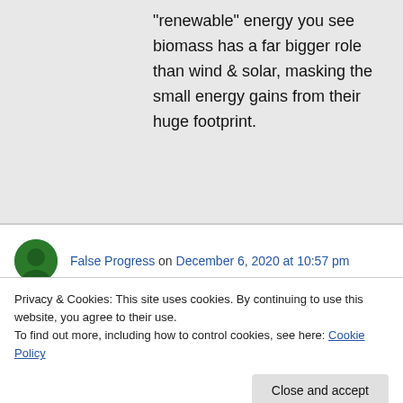“renewable” energy you see biomass has a far bigger role than wind & solar, masking the small energy gains from their huge footprint.
False Progress on December 6, 2020 at 10:57 pm
Privacy & Cookies: This site uses cookies. By continuing to use this website, you agree to their use.
To find out more, including how to control cookies, see here: Cookie Policy
Close and accept